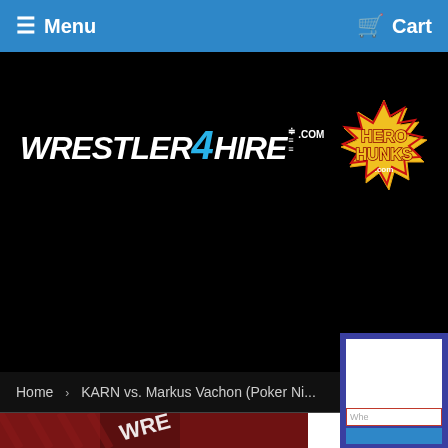Menu   Cart
[Figure (logo): Wrestler4Hire.com and HeroHunks.com logos on black background]
Home › KARN vs. Markus Vachon (Poker Ni...
[Figure (photo): Two wrestlers in action on a red/dark background with WRESTL... text overlay]